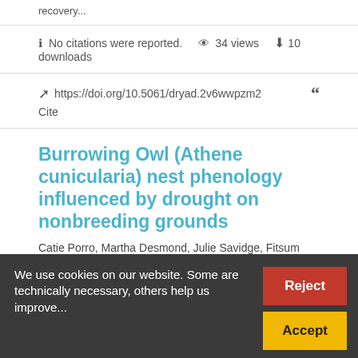recovery...
No citations were reported.   34 views   10 downloads
https://doi.org/10.5061/dryad.2v6wwpzm2   Cite
Burrowing Owl (Athene cunicularia) nest phenology influenced by drought on nonbreeding grounds
Catie Porro, Martha Desmond, Julie Savidge, Fitsum Abadi Gebreselassie, Kirsten Cruz-McDonnell, Jennifer Davis,
We use cookies on our website. Some are technically necessary, others help us improve...